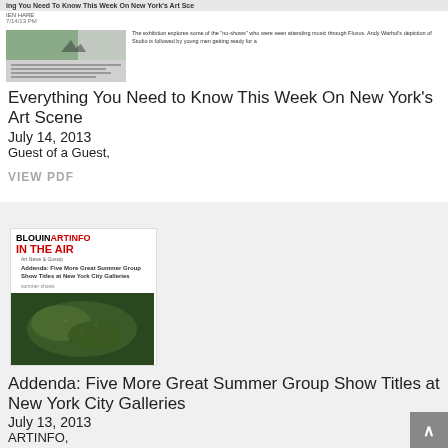ing You Need To Know This Week On New York's Art Sce
IEN HARE
7/14/13 PM
[Figure (screenshot): Thumbnail screenshot of article about New York's Art Scene with text overlay]
Everything You Need to Know This Week On New York's Art Scene
July 14, 2013
Guest of a Guest,
VIEW PDF
[Figure (screenshot): Blouin ARTINFO In The Air magazine thumbnail with aerial photograph of landscape]
Addenda: Five More Great Summer Group Show Titles at New York City Galleries
July 13, 2013
ARTINFO,
VIEW PDF